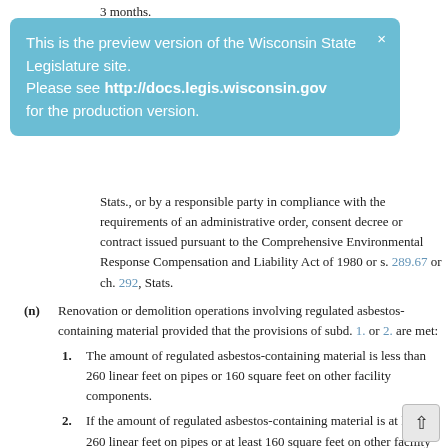Stats., or by a responsible party in compliance with the requirements of an administrative order, consent decree or contract issued pursuant to the Comprehensive Environmental Response Compensation and Liability Act of 1980 or s. 289.67 or ch. 292, Stats.
[Figure (screenshot): Preview banner: 'This is the preview version of the Wisconsin State Legislature site. Please see http://docs.legis.wisconsin.gov for the production version.' with a close X button.]
(n) Renovation or demolition operations involving regulated asbestos-containing material provided that the provisions of subd. 1. or 2. are met:
1. The amount of regulated asbestos-containing material is less than 260 linear feet on pipes or 160 square feet on other facility components.
2. If the amount of regulated asbestos-containing material is at least 260 linear feet on pipes or at least 160 square feet on other facility components, all of the following conditions are met:
a. Notice of intention is provided under s. NR 447.07.
b. The notice indicates that the project will meet all applicable requirements of ch. NR 447.